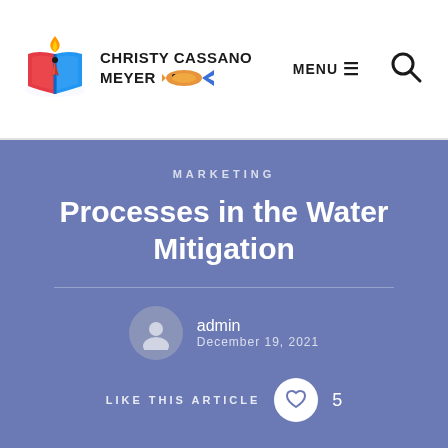[Figure (logo): Christy Cassano Meyer logo with open book, flame, and pen nib graphic, plus fish/arrow icon, and bold text 'CHRISTY CASSANO MEYER']
MENU ≡
[Figure (illustration): Search magnifying glass icon]
MARKETING
Processes in the Water Mitigation
admin
December 19, 2021
LIKE THIS ARTICLE  5